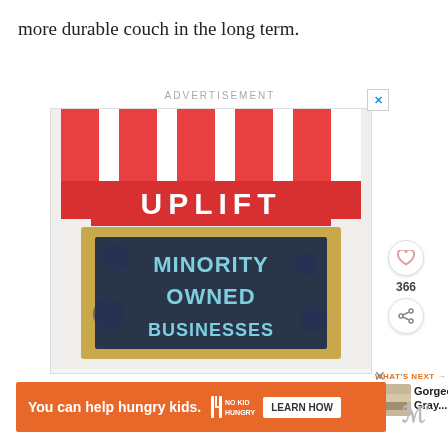more durable couch in the long term.
ADVERTISEMENT
[Figure (illustration): Advertisement image for Uplift Minority Owned Businesses. Shows a storefront with red and white striped awning, a marquee sign reading UPLIFT in white on red background, and a dark navy chalkboard-style sign reading MINORITY OWNED BUSINESSES in bold teal/light blue letters.]
366
WHAT'S NEXT → Gorgeous Gray...
[Figure (illustration): Small thumbnail photo of a gray couch/sofa]
You can help hungry kids.
[Figure (logo): No Kid Hungry logo]
LEARN HOW